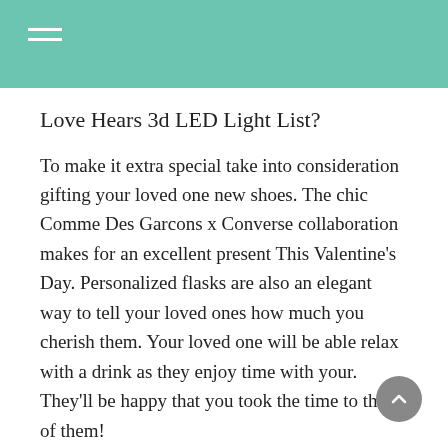Love Hears 3d LED Light List?
To make it extra special take into consideration gifting your loved one new shoes. The chic Comme Des Garcons x Converse collaboration makes for an excellent present This Valentine’s Day. Personalized flasks are also an elegant way to tell your loved ones how much you cherish them. Your loved one will be able relax with a drink as they enjoy time with your. They’ll be happy that you took the time to think of them!